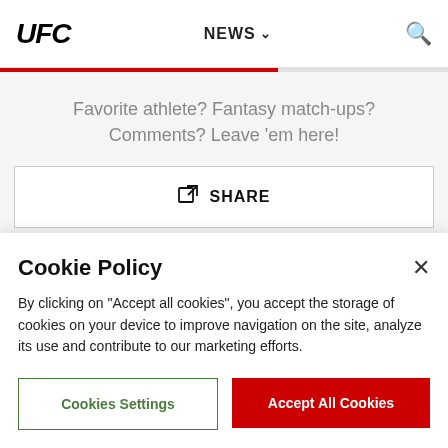UFC  NEWS  [search]
Favorite athlete? Fantasy match-ups? Comments? Leave 'em here!
SHARE
COMMENTS
Cookie Policy
By clicking on "Accept all cookies", you accept the storage of cookies on your device to improve navigation on the site, analyze its use and contribute to our marketing efforts.
Cookies Settings
Accept All Cookies